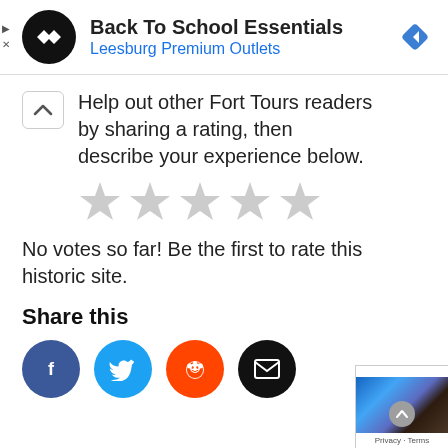[Figure (screenshot): Ad banner: Back To School Essentials at Leesburg Premium Outlets with navigation diamond icon]
Help out other Fort Tours readers by sharing a rating, then describe your experience below.
[Figure (other): Five empty grey star rating icons]
No votes so far! Be the first to rate this historic site.
Share this
[Figure (infographic): Social share buttons: Facebook (blue), Twitter (light blue), Reddit (orange-red), Email (black)]